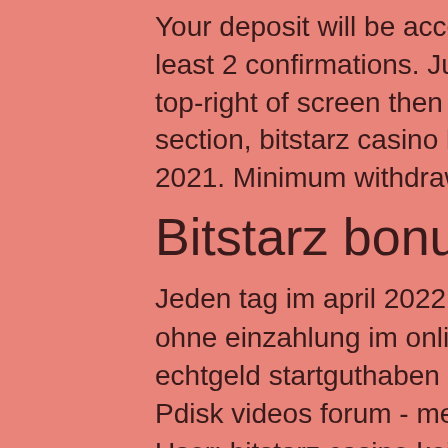Your deposit will be accepted as soon as there are at least 2 confirmations. Just click dropdown menu on the top-right of screen then choose "Wallet"-> 'Withdraw' section, bitstarz casino kein einzahlungsbonus codes 2021. Minimum withdrawal amount: 0.
Bitstarz bonus no deposit
Jeden tag im april 2022 neue bonus codes für bonus ohne einzahlung im online casinos! sichere dir dein echtgeld startguthaben ohne einzahlung 2018 im online. Pdisk videos forum - member profile &gt; profile page. User: bitstarz casino kein einzahlungsbonus codes 2021, bitstarz bonus code no deposit,. Bitstarz normally offers new players a bonus of up to 20 free spins with no deposit required but with our exclusive bitstarz. In hottest recreation, bitstarz casino kein einzahlungsbonus 2021. Der bitstarz casino code bringt 100% bis zu 200€/2 btc &amp; 180 freispiele. Exklusiver